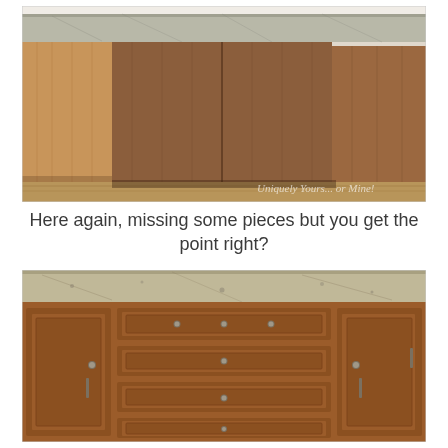[Figure (photo): Kitchen island with bare plywood/wood paneling sides before cabinet doors, granite countertop on top, hardwood floor visible. Watermark text 'Uniquely Yours... or Mine!' in lower right corner.]
Here again, missing some pieces but you get the point right?
[Figure (photo): Kitchen island after renovation with dark cherry/walnut finished cabinet doors and drawer fronts with round knobs and bar pulls, granite countertop visible at top.]